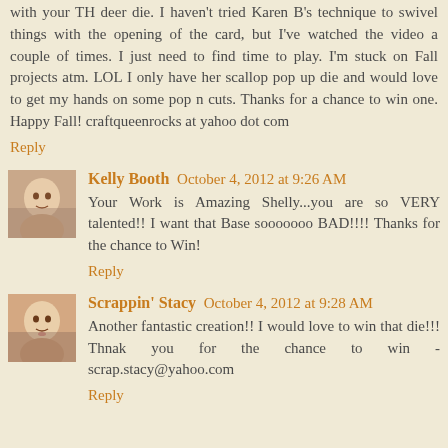with your TH deer die. I haven't tried Karen B's technique to swivel things with the opening of the card, but I've watched the video a couple of times. I just need to find time to play. I'm stuck on Fall projects atm. LOL I only have her scallop pop up die and would love to get my hands on some pop n cuts. Thanks for a chance to win one. Happy Fall! craftqueenrocks at yahoo dot com
Reply
Kelly Booth October 4, 2012 at 9:26 AM
Your Work is Amazing Shelly...you are so VERY talented!! I want that Base sooooooo BAD!!!! Thanks for the chance to Win!
Reply
Scrappin' Stacy October 4, 2012 at 9:28 AM
Another fantastic creation!! I would love to win that die!!! Thnak you for the chance to win - scrap.stacy@yahoo.com
Reply